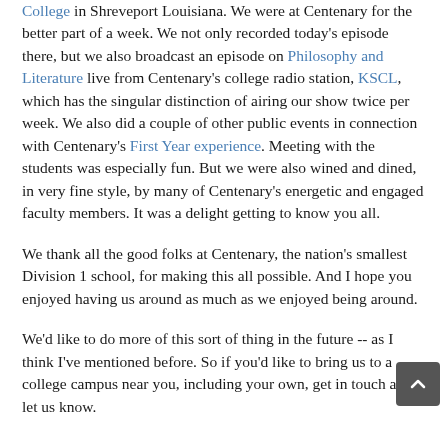College in Shreveport Louisiana. We were at Centenary for the better part of a week. We not only recorded today's episode there, but we also broadcast an episode on Philosophy and Literature live from Centenary's college radio station, KSCL, which has the singular distinction of airing our show twice per week. We also did a couple of other public events in connection with Centenary's First Year experience. Meeting with the students was especially fun. But we were also wined and dined, in very fine style, by many of Centenary's energetic and engaged faculty members. It was a delight getting to know you all.
We thank all the good folks at Centenary, the nation's smallest Division 1 school, for making this all possible. And I hope you enjoyed having us around as much as we enjoyed being around.
We'd like to do more of this sort of thing in the future -- as I think I've mentioned before. So if you'd like to bring us to a college campus near you, including your own, get in touch and let us know.